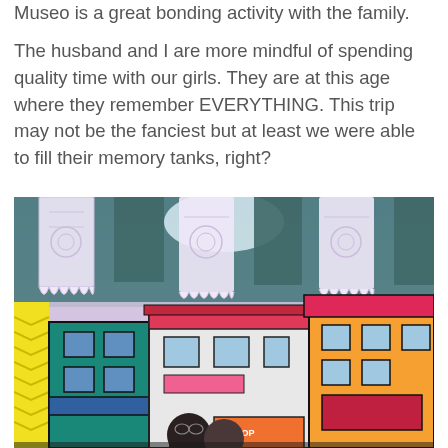Museo is a great bonding activity with the family.
The husband and I are more mindful of spending quality time with our girls. They are at this age where they remember EVERYTHING. This trip may not be the fanciest but at least we were able to fill their memory tanks, right?
[Figure (photo): Family photo inside what appears to be an interactive museum or photo exhibit. The background shows a colorful street art mural with vibrant buildings and decorative lace paper banners (papel picado) hanging from above. The sky in the mural is pink/purple. People visible at the bottom of the frame.]